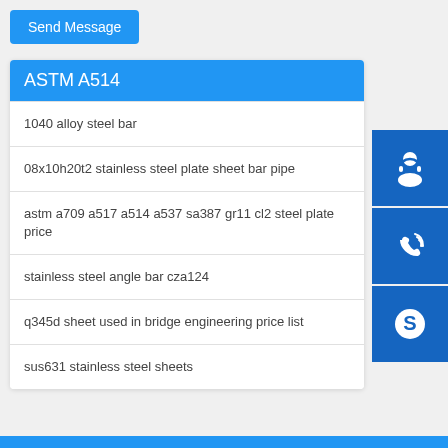Send Message
ASTM A514
1040 alloy steel bar
08x10h20t2 stainless steel plate sheet bar pipe
astm a709 a517 a514 a537 sa387 gr11 cl2 steel plate price
stainless steel angle bar cza124
q345d sheet used in bridge engineering price list
sus631 stainless steel sheets
[Figure (infographic): Three blue side buttons: headset/support icon, phone/call icon, and Skype icon]